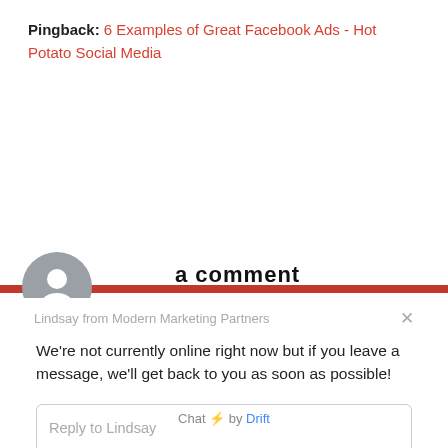Pingback: 6 Examples of Great Facebook Ads - Hot Potato Social Media
[Figure (screenshot): Drift chat widget overlay showing avatar, agent name 'Lindsay from Modern Marketing Partners', offline message, reply input field, and 'Chat by Drift' footer]
Lindsay from Modern Marketing Partners
We're not currently online right now but if you leave a message, we'll get back to you as soon as possible!
Reply to Lindsay
Chat ⚡ by Drift